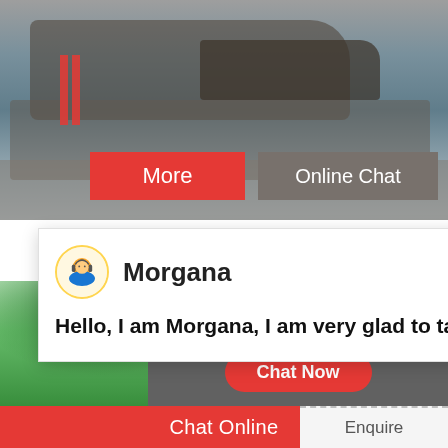[Figure (photo): Heavy industrial mining/crushing machinery on a gravel site]
More
Online Chat
[Figure (screenshot): Chat popup with agent Morgana avatar and greeting message: Hello, I am Morgana, I am very glad to talk with you!]
Morgana
Hello, I am Morgana, I am very glad to talk with you!
effective and can meet aggregate daily needs batching plant, dry mortar mix plant, concrete
[Figure (photo): Customer support agent (woman with headset) with notification badge showing 1]
Need questions & suggestion?
Chat Now
Chat Online
Enquire